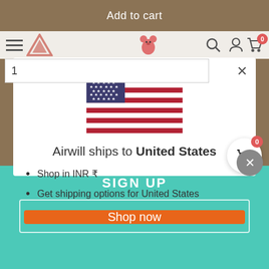Add to cart
1
[Figure (illustration): US American flag icon]
Airwill ships to United States
Shop in INR ₹
Get shipping options for United States
Shop now
SIGN UP
SUBSCRIBE